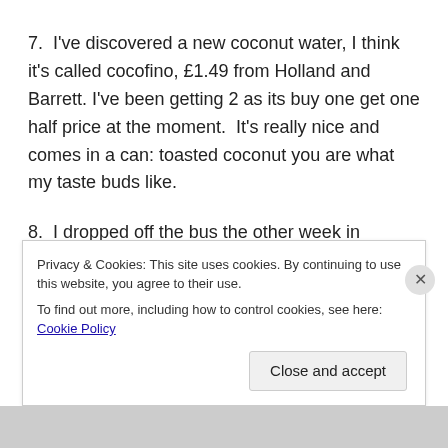7.  I've discovered a new coconut water, I think it's called cocofino, £1.49 from Holland and Barrett. I've been getting 2 as its buy one get one half price at the moment.  It's really nice and comes in a can: toasted coconut you are what my taste buds like.
8.  I dropped off the bus the other week in Rushholme and with a chill in the air I wondered what on earth to drink.  I
Privacy & Cookies: This site uses cookies. By continuing to use this website, you agree to their use.
To find out more, including how to control cookies, see here: Cookie Policy
Close and accept